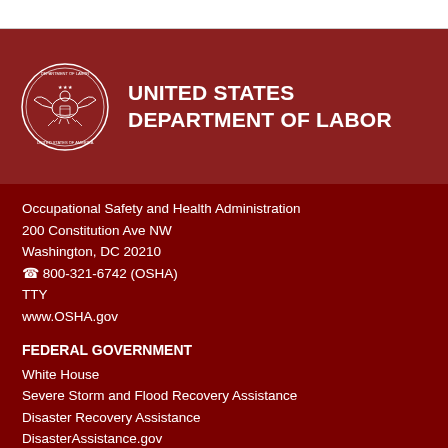UNITED STATES DEPARTMENT OF LABOR
Occupational Safety and Health Administration
200 Constitution Ave NW
Washington, DC 20210
☎ 800-321-6742 (OSHA)
TTY
www.OSHA.gov
FEDERAL GOVERNMENT
White House
Severe Storm and Flood Recovery Assistance
Disaster Recovery Assistance
DisasterAssistance.gov
USA.gov